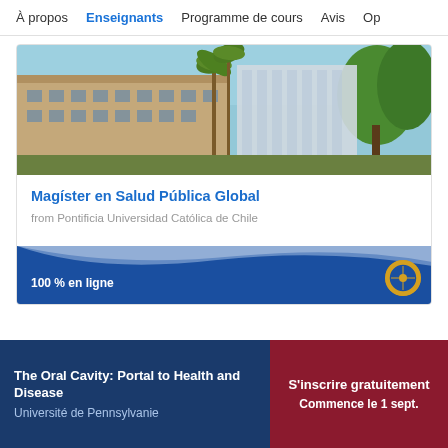À propos    Enseignants    Programme de cours    Avis    Op
[Figure (photo): Exterior photo of a university campus building with palm trees and modern architecture under a blue sky]
Magíster en Salud Pública Global
from Pontificia Universidad Católica de Chile
100 % en ligne
The Oral Cavity: Portal to Health and Disease
Université de Pennsylvanie
S'inscrire gratuitement
Commence le 1 sept.